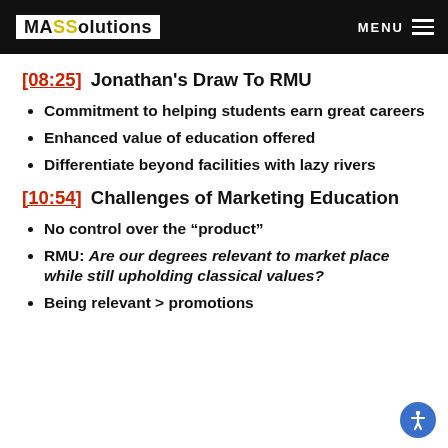MASSolutions MENU
[08:25] Jonathan's Draw To RMU
Commitment to helping students earn great careers
Enhanced value of education offered
Differentiate beyond facilities with lazy rivers
[10:54] Challenges of Marketing Education
No control over the “product”
RMU: Are our degrees relevant to market place while still upholding classical values?
Being relevant > promotions